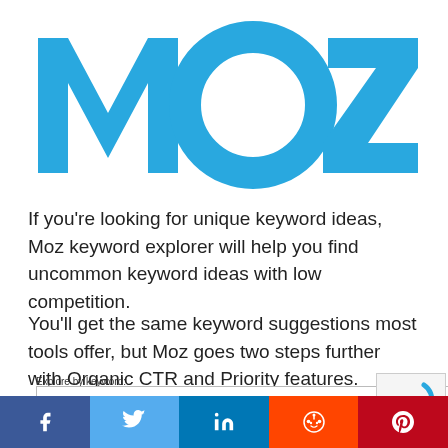[Figure (logo): Moz logo in teal/blue color, large bold letters MOZ]
If you’re looking for unique keyword ideas, Moz keyword explorer will help you find uncommon keyword ideas with low competition.
You’ll get the same keyword suggestions most tools offer, but Moz goes two steps further with Organic CTR and Priority features.
Explore by keyword:
[Figure (screenshot): Search bar with placeholder text 'what is keyword research' and a dropdown showing 'United States - en-US']
[Figure (infographic): Social media sharing bar with Facebook, Twitter, LinkedIn, Reddit, and Pinterest buttons]